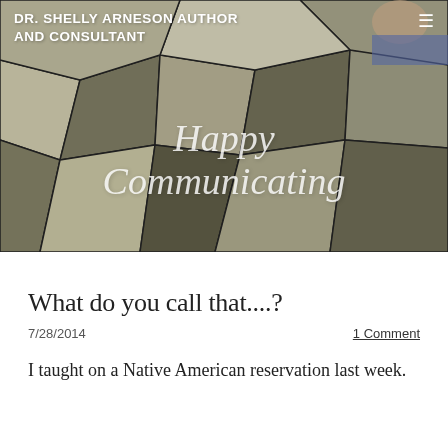[Figure (photo): Website header banner with geometric metallic polygon tile background and a partially visible person in the top-right corner. White text overlay reads 'DR. SHELLY ARNESON AUTHOR AND CONSULTANT' in the top-left and 'Happy Communicating' in italic script in the center.]
DR. SHELLY ARNESON AUTHOR AND CONSULTANT
What do you call that....?
7/28/2014
1 Comment
I taught on a Native American reservation last week.